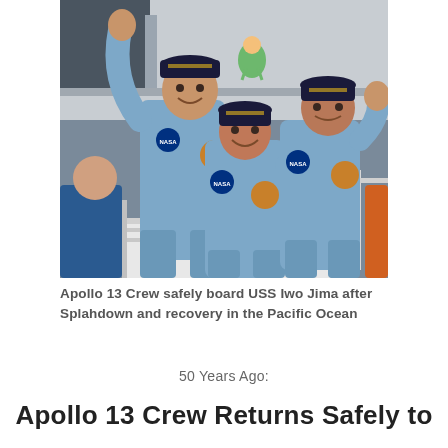[Figure (photo): Three Apollo 13 astronauts in blue flight suits waving and smiling as they board the USS Iwo Jima after splashdown and recovery in the Pacific Ocean. They are wearing dark caps with mission insignia.]
Apollo 13 Crew safely board USS Iwo Jima after Splahdown and recovery in the Pacific Ocean
50 Years Ago:
Apollo 13 Crew Returns Safely to